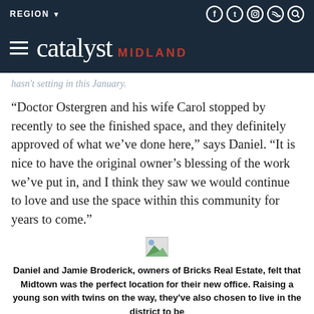REGION ▼  [social icons: Facebook, Twitter, Instagram, RSS, Search]
catalyst MIDLAND
hasn't setting in this January.
“Doctor Ostergren and his wife Carol stopped by recently to see the finished space, and they definitely approved of what we've done here,” says Daniel. “It is nice to have the original owner’s blessing of the work we've put in, and I think they saw we would continue to love and use the space within this community for years to come.”
[Figure (photo): Small broken/loading image placeholder icon]
Daniel and Jamie Broderick, owners of Bricks Real Estate, felt that Midtown was the perfect location for their new office. Raising a young son with twins on the way, they've also chosen to live in the district to be